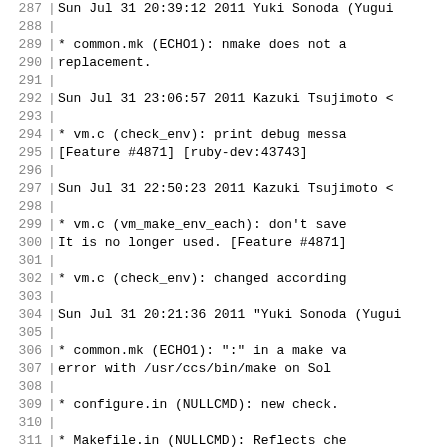Code/changelog view, lines 287-316
287  Sun Jul 31 20:39:12 2011  Yuki Sonoda (Yugui)
288
289       * common.mk (ECHO1): nmake does not a
290          replacement.
291
292  Sun Jul 31 23:06:57 2011  Kazuki Tsujimoto <
293
294       * vm.c (check_env): print debug messa
295         [Feature #4871] [ruby-dev:43743]
296
297  Sun Jul 31 22:50:23 2011  Kazuki Tsujimoto <
298
299       * vm.c (vm_make_env_each): don't save
300         It is no longer used. [Feature #4871]
301
302       * vm.c (check_env): changed according
303
304  Sun Jul 31 20:21:36 2011  "Yuki Sonoda (Yugui
305
306       * common.mk (ECHO1): ":" in a make va
307         error with /usr/ccs/bin/make on Sol
308
309       * configure.in (NULLCMD): new check.
310
311       * Makefile.in (NULLCMD): Reflects che
312
313       * win32/Makefile.sub (NULLCMD): new a
314
315  Sun Jul 31 18:58:59 2011  Nobuyoshi Nakada <
316